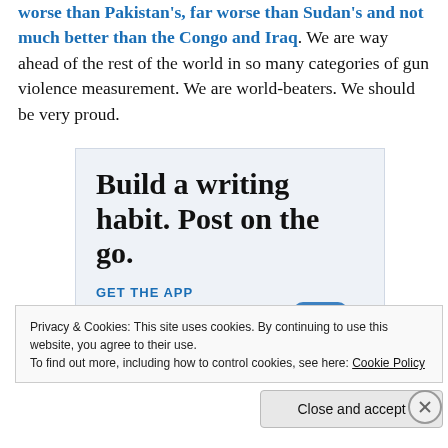worse than Pakistan's, far worse than Sudan's and not much better than the Congo and Iraq. We are way ahead of the rest of the world in so many categories of gun violence measurement. We are world-beaters. We should be very proud.
[Figure (screenshot): Advertisement banner with light blue background reading 'Build a writing habit. Post on the go.' with a 'GET THE APP' link and WordPress logo.]
Privacy & Cookies: This site uses cookies. By continuing to use this website, you agree to their use.
To find out more, including how to control cookies, see here: Cookie Policy
Close and accept